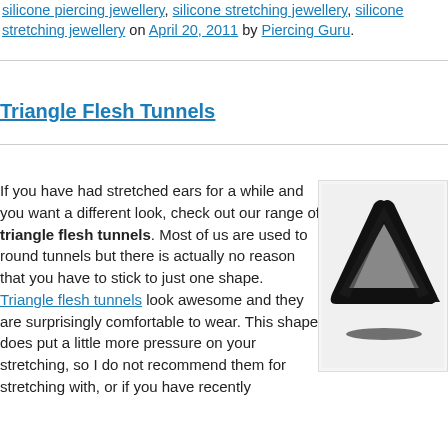silicone piercing jewellery, silicone stretching jewellery, silicone stretching jewellery on April 20, 2011 by Piercing Guru.
Triangle Flesh Tunnels
If you have had stretched ears for a while and you want a different look, check out our range of triangle flesh tunnels. Most of us are used to round tunnels but there is actually no reason that you have to stick to just one shape. Triangle flesh tunnels look awesome and they are surprisingly comfortable to wear. This shape does put a little more pressure on your stretching, so I do not recommend them for stretching with, or if you have recently
[Figure (photo): Two black triangular flesh tunnels / ear plugs shown side by side against a white background]